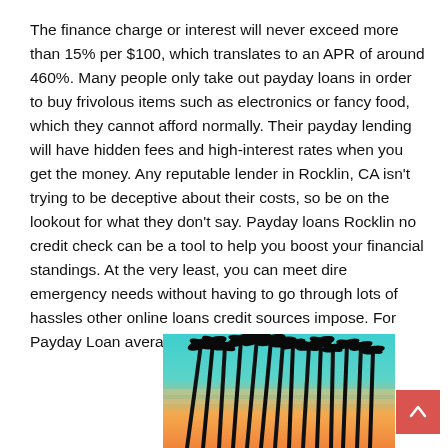The finance charge or interest will never exceed more than 15% per $100, which translates to an APR of around 460%. Many people only take out payday loans in order to buy frivolous items such as electronics or fancy food, which they cannot afford normally. Their payday lending will have hidden fees and high-interest rates when you get the money. Any reputable lender in Rocklin, CA isn't trying to be deceptive about their costs, so be on the lookout for what they don't say. Payday loans Rocklin no credit check can be a tool to help you boost your financial standings. At the very least, you can meet dire emergency needs without having to go through lots of hassles other online loans credit sources impose. For Payday Loan average APR is usually 200% – 300%.
[Figure (photo): Tall palm trees silhouetted against a colorful gradient sky transitioning from teal/turquoise at the top to orange and yellow at the bottom, viewed from below looking upward.]